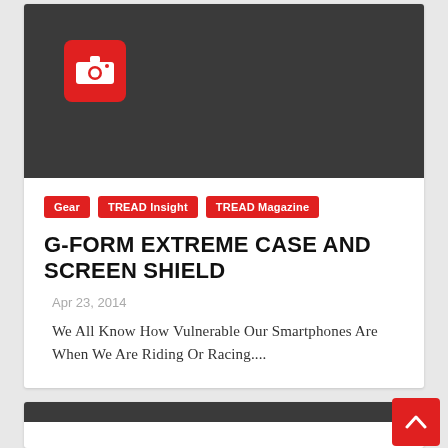[Figure (photo): Dark grey/charcoal placeholder image with a red camera icon in the upper left area]
Gear
TREAD Insight
TREAD Magazine
G-FORM EXTREME CASE AND SCREEN SHIELD
Apr 23, 2014
We All Know How Vulnerable Our Smartphones Are When We Are Riding Or Racing....
[Figure (photo): Partial view of a second article card at the bottom of the page, dark image area visible]